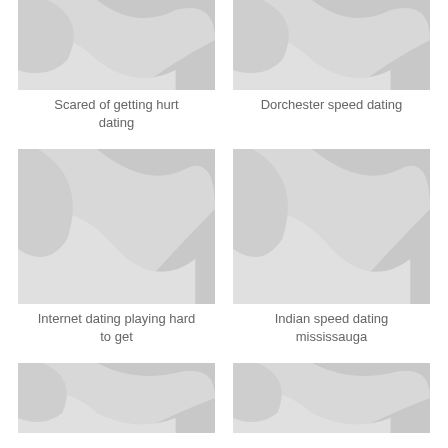[Figure (illustration): Placeholder image with grey background and stylized wave shapes]
Scared of getting hurt dating
[Figure (illustration): Placeholder image with grey background and stylized wave shapes]
Dorchester speed dating
[Figure (illustration): Placeholder image with grey background and stylized wave shapes]
Internet dating playing hard to get
[Figure (illustration): Placeholder image with grey background and stylized wave shapes]
Indian speed dating mississauga
[Figure (illustration): Placeholder image with grey background and stylized wave shapes]
[Figure (illustration): Placeholder image with grey background and stylized wave shapes]